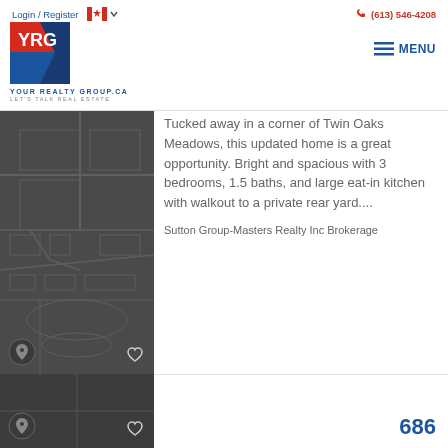Login / Register   (613) 546-4208   YOUR REALTY GROUP.CA   LET'S TALK REAL ESTATE   MENU
[Figure (map): Dark grey map tile showing street layout of Twin Oaks Meadows neighborhood]
Tucked away in a corner of Twin Oaks Meadows, this updated home is a great opportunity. Bright and spacious with 3 bedrooms, 1.5 baths, and large eat-in kitchen with walkout to a private rear yard....
Sutton Group-Masters Realty Inc Brokerage
[Figure (map): Dark grey map tile, partial view, bottom listing card]
686